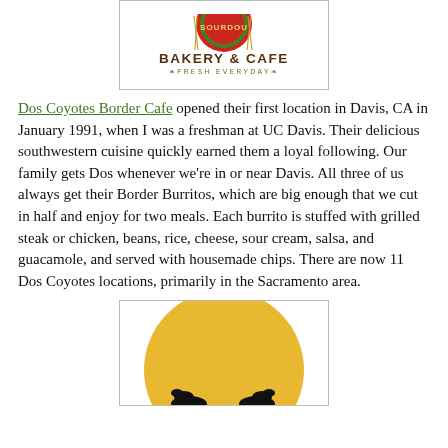[Figure (logo): Sourdough Bakery & Cafe logo — circular badge at top, text 'BAKERY & CAFE' in dark brown bold, tagline 'FRESH EVERYDAY' in olive green]
Dos Coyotes Border Cafe opened their first location in Davis, CA in January 1991, when I was a freshman at UC Davis. Their delicious southwestern cuisine quickly earned them a loyal following. Our family gets Dos whenever we're in or near Davis. All three of us always get their Border Burritos, which are big enough that we cut in half and enjoy for two meals. Each burrito is stuffed with grilled steak or chicken, beans, rice, cheese, sour cream, salsa, and guacamole, and served with housemade chips. There are now 11 Dos Coyotes locations, primarily in the Sacramento area.
[Figure (logo): Dos Coyotes Border Cafe logo — large golden/yellow circle with two black coyote silhouettes at the bottom]